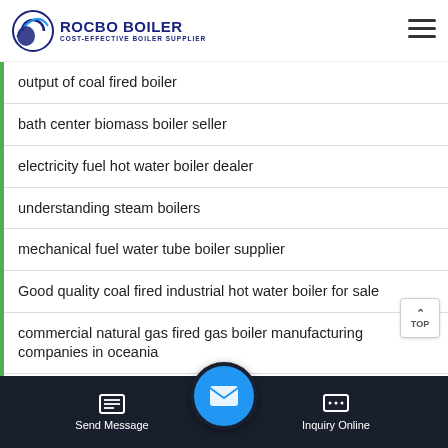ROCBO BOILER - COST-EFFECTIVE BOILER SUPPLIER
output of coal fired boiler
bath center biomass boiler seller
electricity fuel hot water boiler dealer
understanding steam boilers
mechanical fuel water tube boiler supplier
Good quality coal fired industrial hot water boiler for sale
commercial natural gas fired gas boiler manufacturing companies in oceania
Send Message | Inquiry Online